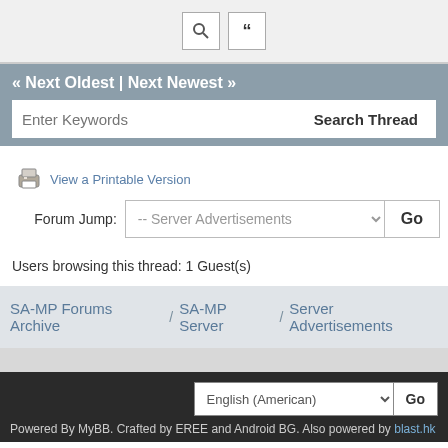Search and quote buttons
« Next Oldest | Next Newest »
Enter Keywords  Search Thread
View a Printable Version
Forum Jump:  -- Server Advertisements  Go
Users browsing this thread: 1 Guest(s)
SA-MP Forums Archive / SA-MP Server / Server Advertisements
Powered By MyBB. Crafted by EREE and Android BG. Also powered by blast.hk